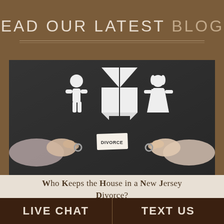READ OUR LATEST BLOGS
[Figure (photo): Two hands from opposite sides each holding a wedding ring, with paper cutouts of a man, woman, and house split in two on a dark chalkboard background. A small paper note in the center reads 'DIVORCE'.]
Who Keeps the House in a New Jersey Divorce?
LIVE CHAT
TEXT US